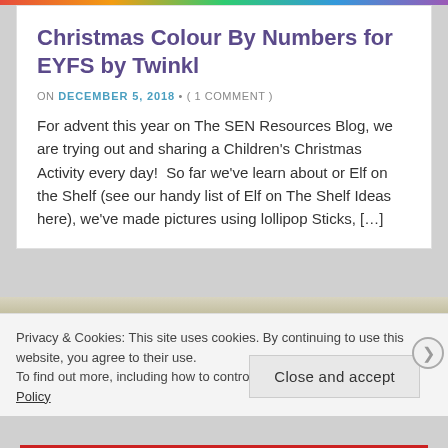Christmas Colour By Numbers for EYFS by Twinkl
ON DECEMBER 5, 2018 • ( 1 COMMENT )
For advent this year on The SEN Resources Blog, we are trying out and sharing a Children's Christmas Activity every day!  So far we've learn about or Elf on the Shelf (see our handy list of Elf on The Shelf Ideas here), we've made pictures using lollipop Sticks, [...]
Privacy & Cookies: This site uses cookies. By continuing to use this website, you agree to their use.
To find out more, including how to control cookies, see here: Cookie Policy